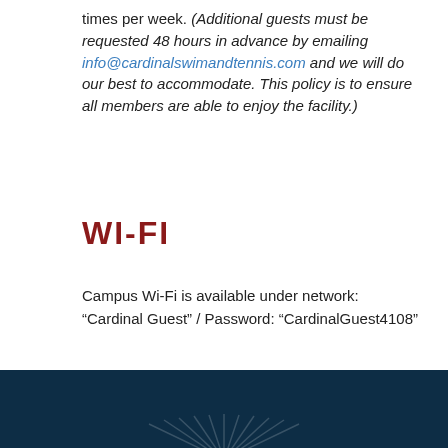times per week. (Additional guests must be requested 48 hours in advance by emailing info@cardinalswimandtennis.com and we will do our best to accommodate. This policy is to ensure all members are able to enjoy the facility.)
WI-FI
Campus Wi-Fi is available under network: “Cardinal Guest” / Password: “CardinalGuest4108”
[Figure (illustration): Dark navy blue footer area with faint decorative radiating lines pattern]